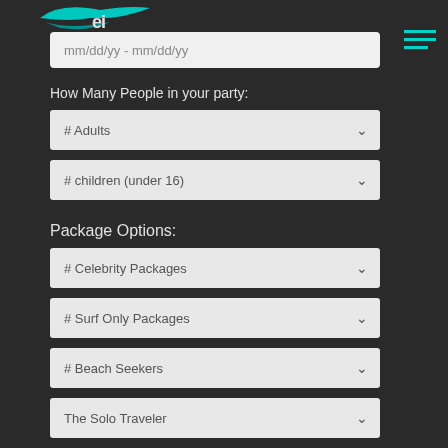[Figure (logo): Teal bird/wave logo with stylized EI text]
mm/dd/yy - mm/dd/yy
How Many People in your party:
# Adults
# children (under 16)
Package Options:
# Celebrity Packages
# Surf Only Packages
# Beach Seekers
The Solo Traveler